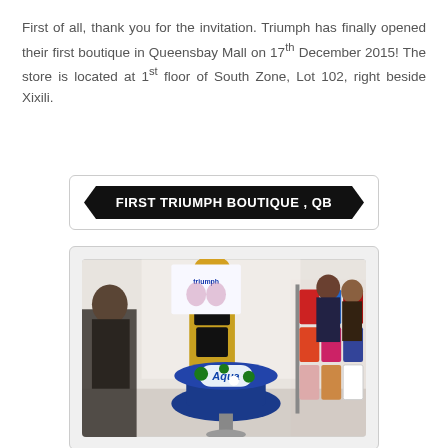First of all, thank you for the invitation. Triumph has finally opened their first boutique in Queensbay Mall on 17th December 2015! The store is located at 1st floor of South Zone, Lot 102, right beside Xixili.
[Figure (other): Black banner with white bold text reading 'FIRST TRIUMPH BOUTIQUE , QB' in a pennant/ribbon shape, inside a white rounded-corner box]
[Figure (photo): Interior photo of the Triumph boutique at Queensbay Mall showing a mannequin in black lingerie, a round table with Aqua branding and decorations, racks of colorful clothing, and several people in the store]